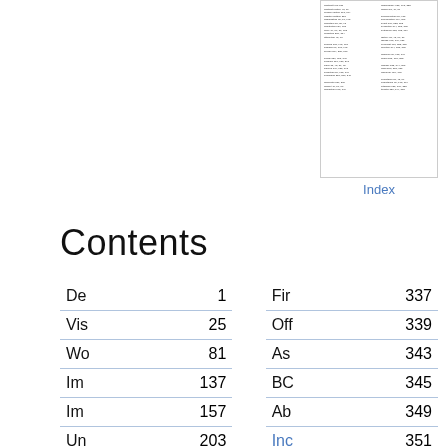[Figure (screenshot): Thumbnail of an Index page showing two-column small text index entries]
Index
Contents
| Chapter | Page |  | Chapter | Page |
| --- | --- | --- | --- | --- |
| De | 1 |  | Fir | 337 |
| Vis | 25 |  | Off | 339 |
| Wo | 81 |  | As | 343 |
| Im | 137 |  | BC | 345 |
| Im | 157 |  | Ab | 349 |
| Un | 203 |  | Inc | 351 |
| Bu | 237 |  | Ab | 365 |
| Be | 271 |  | Ad | 367 |
| Co | 289 |  | Ba | 373 |